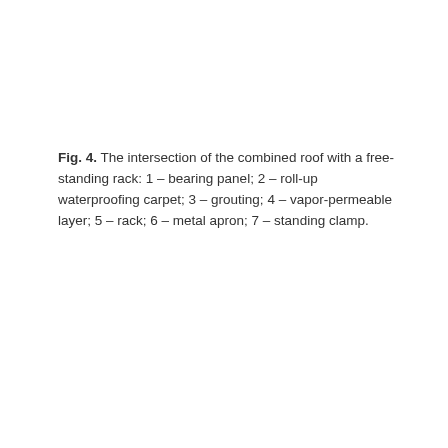Fig. 4. The intersection of the combined roof with a free-standing rack: 1 – bearing panel; 2 – roll-up waterproofing carpet; 3 – grouting; 4 – vapor-permeable layer; 5 – rack; 6 – metal apron; 7 – standing clamp.